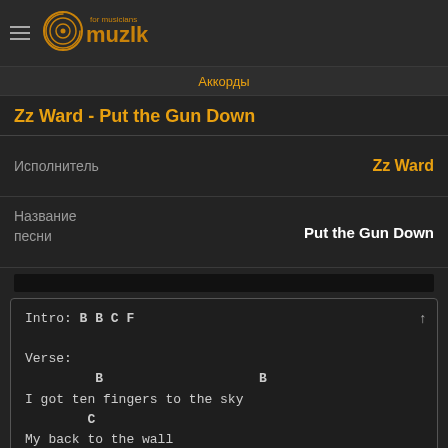[Figure (logo): muzlk for musicians logo with golden circular icon and text]
Аккорды
Zz Ward - Put the Gun Down
| Исполнитель | Zz Ward |
| Название песни | Put the Gun Down |
Intro: B B C F

Verse:
         B                    B
I got ten fingers to the sky
        C
My back to the wall